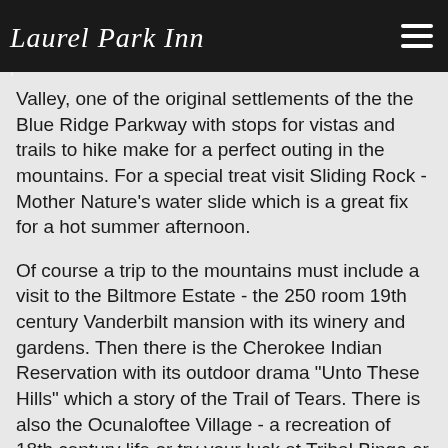Laurel Park Inn — National Park - just about nothing can beat a picnic and hike around Cataloochee's Valley, one of the original settlements of the...
National Park - just about nothing can beat a picnic in Cataloochee Valley, one of the original settlements of the the Blue Ridge Parkway with stops for vistas and trails to hike make for a perfect outing in the mountains. For a special treat visit Sliding Rock - Mother Nature's water slide which is a great fix for a hot summer afternoon.
Of course a trip to the mountains must include a visit to the Biltmore Estate - the 250 room 19th century Vanderbilt mansion with its winery and gardens. Then there is the Cherokee Indian Reservation with its outdoor drama "Unto These Hills" which a story of the Trail of Tears. There is also the Ocunaloftee Village - a recreation of 18th century life or try your luck at Tribal Bingo or Harrahs Cherokee Casino.